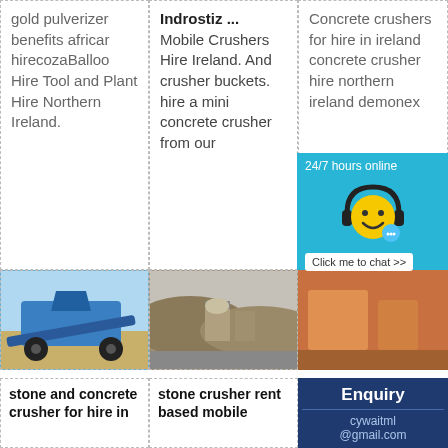gold pulverizer benefits africar hirecozaBalloo Hire Tool and Plant Hire Northern Ireland.
Indrostiz ... Mobile Crushers Hire Ireland. And crusher buckets. hire a mini concrete crusher from our
Concrete crushers for hire in ireland concrete crusher hire northern ireland demonex
[Figure (photo): Blue mobile stone crusher machine at a site]
[Figure (photo): Stone crusher facility with industrial buildings]
[Figure (infographic): Chat widget with 24/7 hours online smiley face with headphones and Click me to chat button]
stone and concrete crusher for hire in
stone crusher rent based mobile
Enquiry
cywaitml@gmail.com